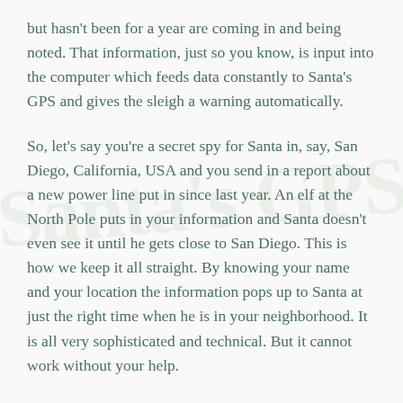but hasn't been for a year are coming in and being noted. That information, just so you know, is input into the computer which feeds data constantly to Santa's GPS and gives the sleigh a warning automatically.
So, let's say you're a secret spy for Santa in, say, San Diego, California, USA and you send in a report about a new power line put in since last year. An elf at the North Pole puts in your information and Santa doesn't even see it until he gets close to San Diego. This is how we keep it all straight. By knowing your name and your location the information pops up to Santa at just the right time when he is in your neighborhood. It is all very sophisticated and technical. But it cannot work without your help.